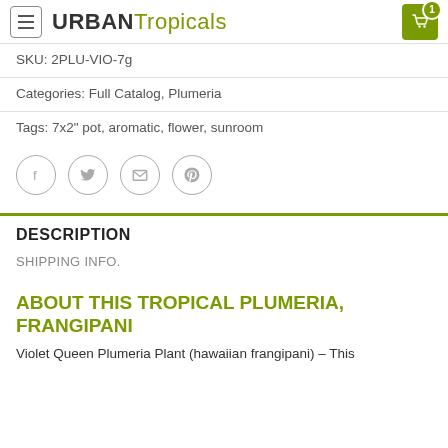URBAN Tropicals
SKU: 2PLU-VIO-7g
Categories: Full Catalog, Plumeria
Tags: 7x2" pot, aromatic, flower, sunroom
[Figure (infographic): Row of four circular social media share icons: Facebook (f), Twitter (bird), Email (envelope), Pinterest (p)]
DESCRIPTION
SHIPPING INFO.
ABOUT THIS TROPICAL PLUMERIA, FRANGIPANI
Violet Queen Plumeria Plant (hawaiian frangipani) – This